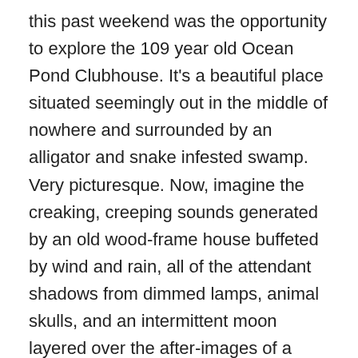this past weekend was the opportunity to explore the 109 year old Ocean Pond Clubhouse. It's a beautiful place situated seemingly out in the middle of nowhere and surrounded by an alligator and snake infested swamp. Very picturesque. Now, imagine the creaking, creeping sounds generated by an old wood-frame house buffeted by wind and rain, all of the attendant shadows from dimmed lamps, animal skulls, and an intermittent moon layered over the after-images of a horror movie flickering on the insides of your eyelids. And not just any movie, a zombie movie! World War Z!
A sweet afternoon party–punctuated by fear and popcorn
I think I've mentioned before that my youngest daughter is a zombie freak. She is both terrified and fascinated by the